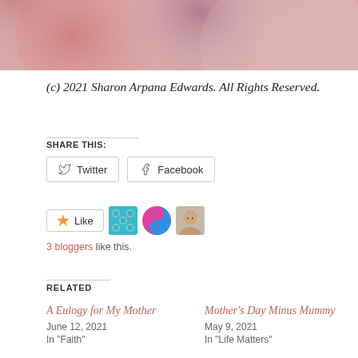[Figure (photo): Abstract blurred circles in pink, rose, and mauve tones on a light background, decorative header image]
(c) 2021 Sharon Arpana Edwards. All Rights Reserved.
SHARE THIS:
Twitter  Facebook
[Figure (infographic): Like button with star icon, followed by three blogger avatar icons (teal pattern, yin-yang pink/blue, woman photo)]
3 bloggers like this.
RELATED
A Eulogy for My Mother
June 12, 2021
In "Faith"
Mother's Day Minus Mummy
May 9, 2021
In "Life Matters"